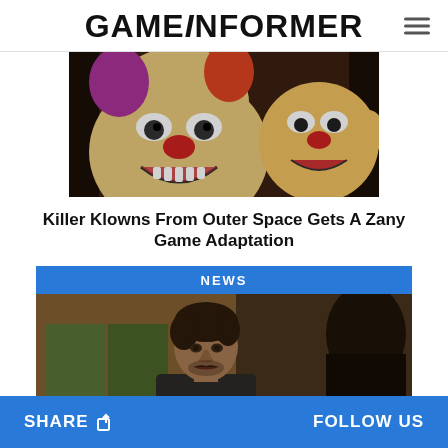GAMEINFORMER
[Figure (photo): Two creepy clown characters from Killer Klowns From Outer Space game, shown peeking out with wide grins, colorful costumes against a dark background.]
Killer Klowns From Outer Space Gets A Zany Game Adaptation
NEWS
[Figure (photo): A man with a beard and dark jacket looking seriously at someone off-camera, from The Last of Us.]
SHARE   FOLLOW US